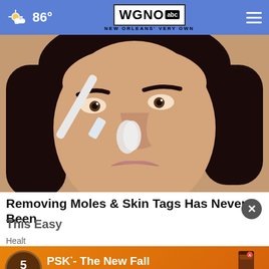WGNO abc – NEW ORLEANS' VERY OWN | 86°
[Figure (photo): Close-up of a woman applying white product to her nose with a brush. She has dark hair and is looking slightly downward.]
Removing Moles & Skin Tags Has Never Been This Easy
Health
[Figure (infographic): Advertisement banner: PSK' - The New Fall Obsession (Pumpkin Smoothie King) with order now button]